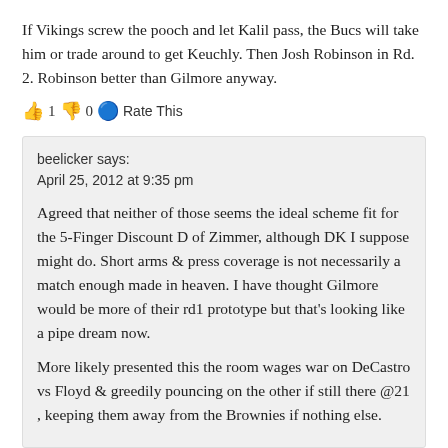If Vikings screw the pooch and let Kalil pass, the Bucs will take him or trade around to get Keuchly. Then Josh Robinson in Rd. 2. Robinson better than Gilmore anyway.
👍 1 👎 0 🔵 Rate This
beelicker says:
April 25, 2012 at 9:35 pm
Agreed that neither of those seems the ideal scheme fit for the 5-Finger Discount D of Zimmer, although DK I suppose might do. Short arms & press coverage is not necessarily a match enough made in heaven. I have thought Gilmore would be more of their rd1 prototype but that's looking like a pipe dream now.
More likely presented this the room wages war on DeCastro vs Floyd & greedily pouncing on the other if still there @21 , keeping them away from the Brownies if nothing else.